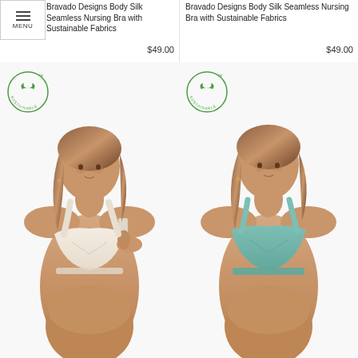[Figure (screenshot): Menu hamburger button with MENU label, top-left corner]
Bravado Designs Body Silk Seamless Nursing Bra with Sustainable Fabrics
$49.00
Bravado Designs Body Silk Seamless Nursing Bra with Sustainable Fabrics
$49.00
[Figure (photo): Model wearing cream/ivory seamless nursing bra with sustainable badge overlay, demonstrating nursing clip feature]
[Figure (photo): Model wearing teal/sage seamless nursing bra with sustainable badge overlay]